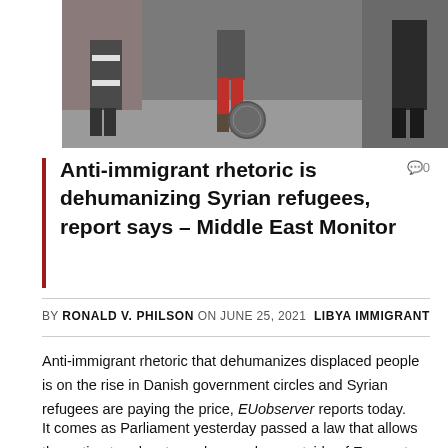[Figure (photo): Photograph showing people near a building exterior; one person in high-visibility worker clothing, another in red trousers, near a manhole cover on pavement.]
Anti-immigrant rhetoric is dehumanizing Syrian refugees, report says – Middle East Monitor
BY RONALD V. PHILSON ON JUNE 25, 2021  LIBYA IMMIGRANT
Anti-immigrant rhetoric that dehumanizes displaced people is on the rise in Danish government circles and Syrian refugees are paying the price, EUobserver reports today.
It comes as Parliament yesterday passed a law that allows the nation to relocate asylum seekers outside of Europe to have their refugee